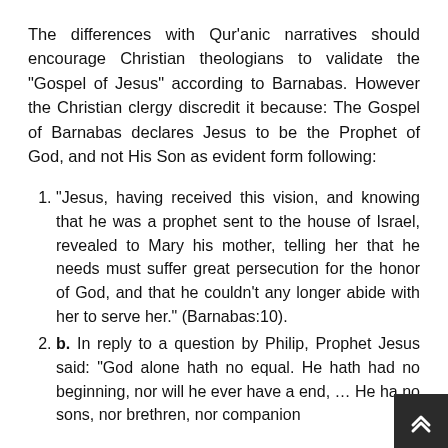The differences with Qur'anic narratives should encourage Christian theologians to validate the "Gospel of Jesus" according to Barnabas. However the Christian clergy discredit it because: The Gospel of Barnabas declares Jesus to be the Prophet of God, and not His Son as evident form following:
“Jesus, having received this vision, and knowing that he was a prophet sent to the house of Israel, revealed to Mary his mother, telling her that he needs must suffer great persecution for the honor of God, and that he couldn't any longer abide with her to serve her.” (Barnabas:10).
b. In reply to a question by Philip, Prophet Jesus said: “God alone hath no equal. He hath had no beginning, nor will he ever have a end, … He ha no sons, nor brethren, nor companion